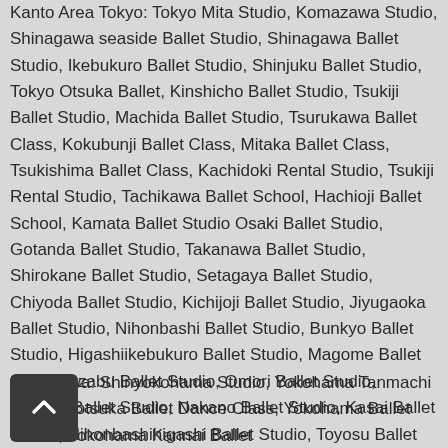Kanto Area Tokyo: Tokyo Mita Studio, Komazawa Studio, Shinagawa seaside Ballet Studio, Shinagawa Ballet Studio, Ikebukuro Ballet Studio, Shinjuku Ballet Studio, Tokyo Otsuka Ballet, Kinshicho Ballet Studio, Tsukiji Ballet Studio, Machida Ballet Studio, Tsurukawa Ballet Class, Kokubunji Ballet Class, Mitaka Ballet Class, Tsukishima Ballet Class, Kachidoki Rental Studio, Tsukiji Rental Studio, Tachikawa Ballet School, Hachioji Ballet School, Kamata Ballet Studio Osaki Ballet Studio, Gotanda Ballet Studio, Takanawa Ballet Studio, Shirokane Ballet Studio, Setagaya Ballet Studio, Chiyoda Ballet Studio, Kichijoji Ballet Studio, Jiyugaoka Ballet Studio, Nihonbashi Ballet Studio, Bunkyo Ballet Studio, Higashiikebukuro Ballet Studio, Magome Ballet Studio, Azabu Ballet Studio, Omori Ballet Studio, Meguro Ballet Studio, Nakano Ballet Studio, Kasai Ballet Studio, Nihonbashihigashi Ballet Studio, Toyosu Ballet Studio, Hamamatsucho Ballet Studio, Kanda Ballet Studio, Ueno Ballet Studio, Itabashi Ballet Studio, Nerima Ballet Studio, Senzoku Ballet Studio, Kiyosumi Ballet Studio, Gokokuji Ballet Studio, Senju Ballet Studio, Ginza Ballet Studio
Kanagawa: Shinyokohama Studio, Yokohama Tanmachi Studio, Totsuka Ballet Dance Class, Yokohama Ballet Studio, Yokohama Kannai Ballet